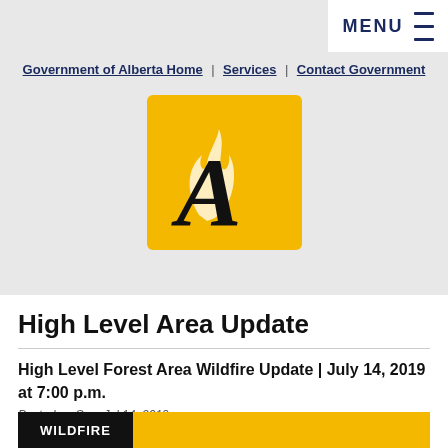MENU ☰
Government of Alberta Home | Services | Contact Government
[Figure (logo): Alberta Government logo: gold/amber square with a stylized white flame and black letter A]
High Level Area Update
High Level Forest Area Wildfire Update | July 14, 2019 at 7:00 p.m.
Posted on Sun, Jul 14, 2019
[Figure (other): Banner strip with black section labeled WILDFIRE and yellow section]